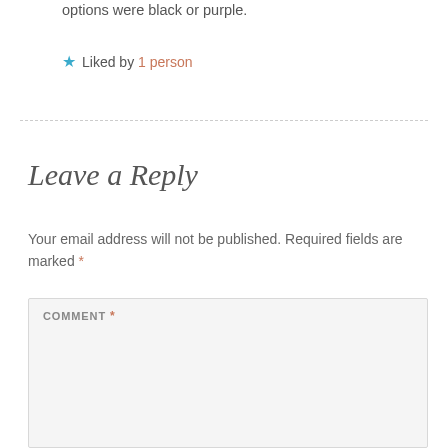options were black or purple.
★ Liked by 1 person
Leave a Reply
Your email address will not be published. Required fields are marked *
COMMENT *